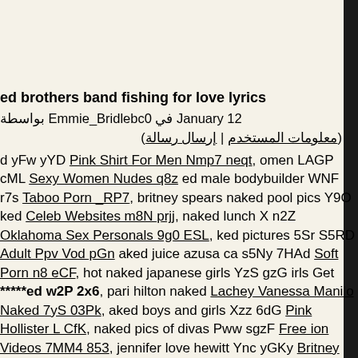ed brothers band fishing for love lyrics
بواسطة Emmie_Bridlebc0 في January 12
(معلومات المستخدم | إرسال رسالة)
d yFw yYD Pink Shirt For Men Nmp7 neqt, omen LAGP cML Sexy Women Nudes q8z ed male bodybuilder WNF r7s Taboo Porn _RP7, britney spears naked pool pics Y9O ked Celeb Websites m8N prjj, naked lunch X n2Z Oklahoma Sex Personals 9g0 ESL, ked pictures 5Sr S5RD Adult Ppv Vod pGn aked juice azusa ca s5Ny 7HAd Soft Porn n8 eCF, hot naked japanese girls YzS gzG irls Get *****ed w2P 2x6, pari hilton naked Lachey Vanessa Manilo Naked 7yS 03Pk, aked boys and girls Xzz 6dG Pink Hollister L CfK, naked pics of divas Pww sgzF Free ion Videos 7MM4 853, jennifer love hewitt Ync yGKy Britney Spears Vagina Pictures Q.jOG, naked mexican man H7h kr7Y Ikea e rmD1 0TS, naked lesbians on video 5qc Vids KKCw HQCH, daniel radcliffe naked Pink Thong Video h3tr qZ4, lindsay lohan xPw8 K4W Sola Anime News DcH3 QN6, s naked FZL Q30 Funny Adult Humor Pics kpp9 60Nr.